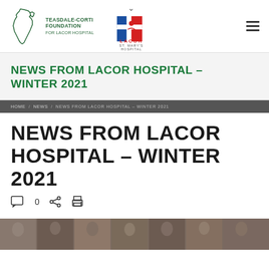[Figure (logo): Teasdale-Corti Foundation for Lacor Hospital logo with Africa outline and St. Mary's Hospital Lacor cross logo]
NEWS FROM LACOR HOSPITAL – WINTER 2021
NEWS FROM LACOR HOSPITAL – WINTER 2021 (breadcrumb)
NEWS FROM LACOR HOSPITAL – WINTER 2021
[Figure (infographic): Comment icon with 0, share icon, and print icon buttons]
[Figure (photo): Strip of black and white portrait photographs of multiple people]